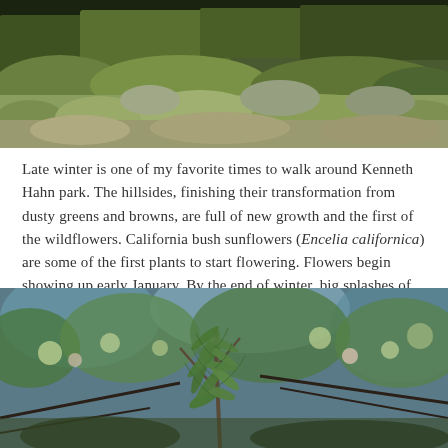[Figure (photo): Hillside vegetation at Kenneth Hahn park — green and grey-brown scrub brush covering a slope, photographed in late winter]
Late winter is one of my favorite times to walk around Kenneth Hahn park. The hillsides, finishing their transformation from dusty greens and browns, are full of new growth and the first of the wildflowers. California bush sunflowers (Encelia californica) are some of the first plants to start flowering. Flowers begin showing up early January. By the end of winter, big splashes of yellow are seen across the hillsides. The show is just beginning, the sunflowers continuing to bloom into early summer.
[Figure (photo): Close-up photograph of California bush sunflower (Encelia californica) plant with feathery green foliage and small budding flower heads, with blurred green background]